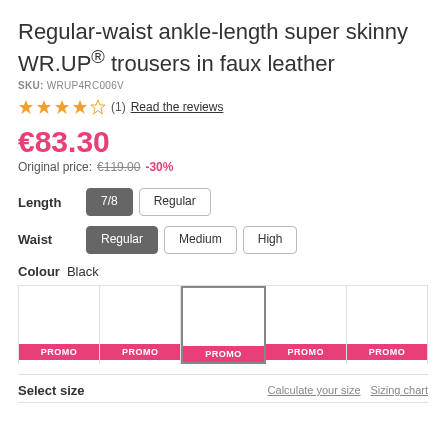Regular-waist ankle-length super skinny WR.UP® trousers in faux leather
SKU: WRUP4RC006V
★★★★☆ (1) Read the reviews
€83.30
Original price: €119.00 -30%
Length: 7/8, Regular
Waist: Regular, Medium, High
Colour: Black
[Figure (other): Five colour swatches in a row, each with a pink PROMO label at the bottom. The middle swatch is highlighted with a grey border.]
Select size   Calculate your size   Sizing chart